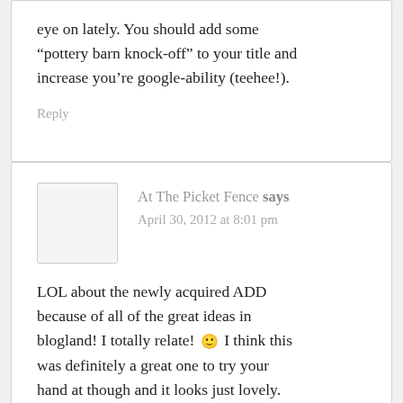eye on lately. You should add some "pottery barn knock-off" to your title and increase you're google-ability (teehee!).
Reply
At The Picket Fence says
April 30, 2012 at 8:01 pm
LOL about the newly acquired ADD because of all of the great ideas in blogland! I totally relate! 🙂 I think this was definitely a great one to try your hand at though and it looks just lovely. Thanks so much for sharing it at